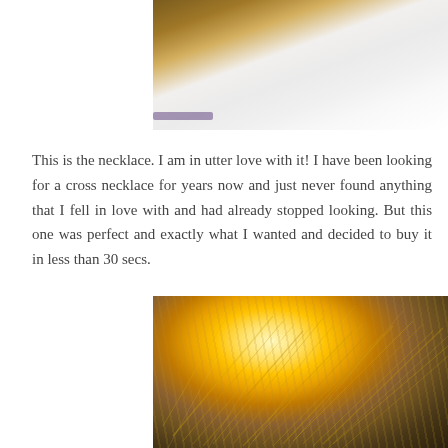[Figure (photo): Close-up photo cropped at top, showing white/cream textured fabric with brown and purple accent at left edge]
This is the necklace. I am in utter love with it! I have been looking for a cross necklace for years now and just never found anything that I fell in love with and had already stopped looking. But this one was perfect and exactly what I wanted and decided to buy it in less than 30 secs.
[Figure (photo): Close-up photo of a golden necklace with intricate chain links glowing in warm sunlight, with decorative elements visible]